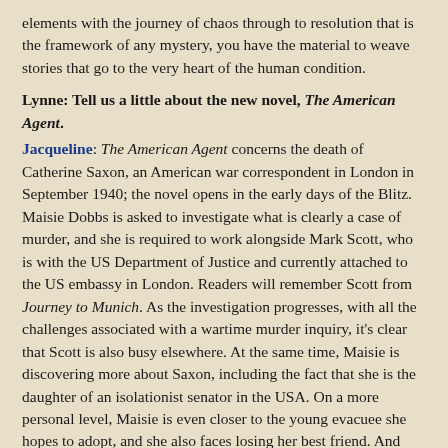elements with the journey of chaos through to resolution that is the framework of any mystery, you have the material to weave stories that go to the very heart of the human condition.
Lynne: Tell us a little about the new novel, The American Agent.
Jacqueline: The American Agent concerns the death of Catherine Saxon, an American war correspondent in London in September 1940; the novel opens in the early days of the Blitz. Maisie Dobbs is asked to investigate what is clearly a case of murder, and she is required to work alongside Mark Scott, who is with the US Department of Justice and currently attached to the US embassy in London. Readers will remember Scott from Journey to Munich. As the investigation progresses, with all the challenges associated with a wartime murder inquiry, it's clear that Scott is also busy elsewhere. At the same time, Maisie is discovering more about Saxon, including the fact that she is the daughter of an isolationist senator in the USA. On a more personal level, Maisie is even closer to the young evacuee she hopes to adopt, and she also faces losing her best friend. And then there's Mark Scott…